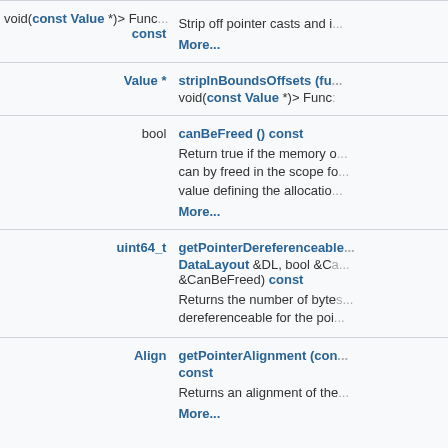| Return Type | Function |
| --- | --- |
| void(const Value *)> Func...
const | Strip off pointer casts and i...
More... |
| Value * | stripInBoundsOffsets (fu...
void(const Value *)> Func... |
| bool | canBeFreed () const
Return true if the memory o can by freed in the scope fo value defining the allocatio...
More... |
| uint64_t | getPointerDereferenceable (DataLayout &DL, bool &Ca... &CanBeFreed) const
Returns the number of byte dereferenceable for the poi... |
| Align | getPointerAlignment (con...
const
Returns an alignment of the...
More... |